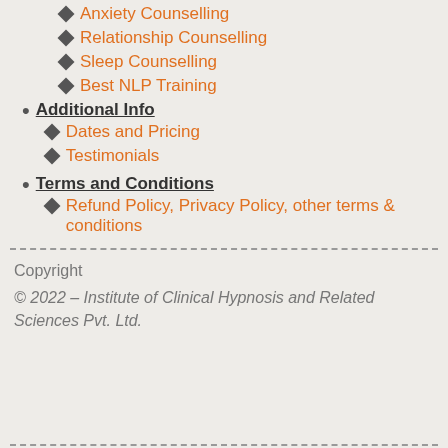Anxiety Counselling
Relationship Counselling
Sleep Counselling
Best NLP Training
Additional Info
Dates and Pricing
Testimonials
Terms and Conditions
Refund Policy, Privacy Policy, other terms & conditions
Copyright
© 2022 – Institute of Clinical Hypnosis and Related Sciences Pvt. Ltd.